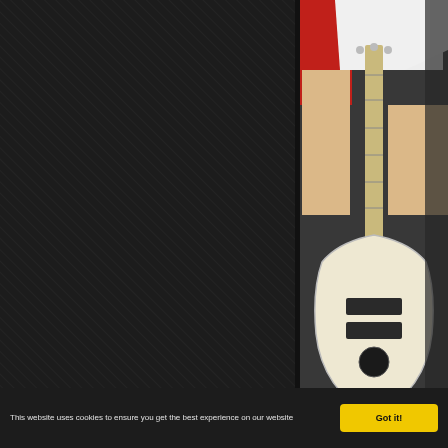[Figure (photo): Left panel with dark diagonal hatched/textured background, occupying left two-thirds of page]
[Figure (photo): Photo of a musician holding a white guitar, wearing a red and white outfit, on right side of page]
Like superheroes. Five m world one more time. Like
There's mad uncle Mick rolling. He's an inseparab flat golfer's cap.
Messianic ringleader Lind the Heartbreak High pro
This website uses cookies to ensure you get the best experience on our website
Got it!